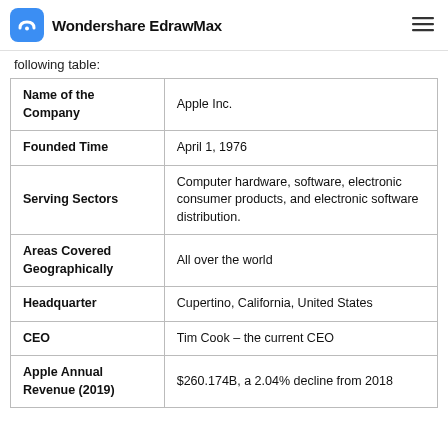Wondershare EdrawMax
following table:
| Name of the Company | Apple Inc. |
| Founded Time | April 1, 1976 |
| Serving Sectors | Computer hardware, software, electronic consumer products, and electronic software distribution. |
| Areas Covered Geographically | All over the world |
| Headquarter | Cupertino, California, United States |
| CEO | Tim Cook – the current CEO |
| Apple Annual Revenue (2019) | $260.174B, a 2.04% decline from 2018 |